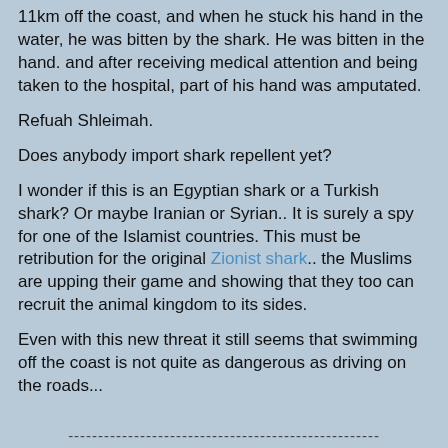11km off the coast, and when he stuck his hand in the water, he was bitten by the shark. He was bitten in the hand. and after receiving medical attention and being taken to the hospital, part of his hand was amputated.
Refuah Shleimah.
Does anybody import shark repellent yet?
I wonder if this is an Egyptian shark or a Turkish shark? Or maybe Iranian or Syrian.. It is surely a spy for one of the Islamist countries. This must be retribution for the original Zionist shark.. the Muslims are upping their game and showing that they too can recruit the animal kingdom to its sides.
Even with this new threat it still seems that swimming off the coast is not quite as dangerous as driving on the roads...
----------------------------------------------------